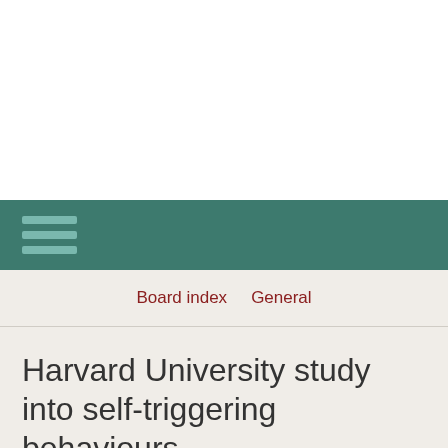Board index  General
Harvard University study into self-triggering behaviours
Moderators: bobcat, Caroline, forum_admin